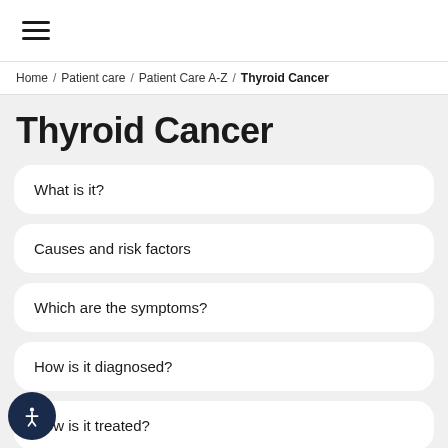≡
Home / Patient care / Patient Care A-Z / Thyroid Cancer
Thyroid Cancer
What is it?
Causes and risk factors
Which are the symptoms?
How is it diagnosed?
How is it treated?